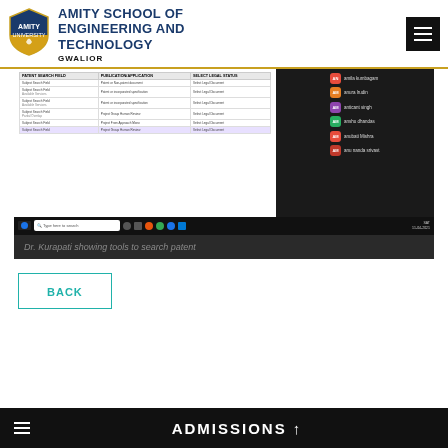[Figure (logo): Amity University shield logo — blue and gold]
AMITY SCHOOL OF ENGINEERING AND TECHNOLOGY
GWALIOR
[Figure (screenshot): Screenshot of Dr. Kurapati showing tools to search patent — a Google Meet or similar video call with a patent search interface visible and participants listed on the right side. Windows taskbar visible at the bottom.]
Dr. Kurapati showing tools to search patent
BACK
ADMISSIONS ↑